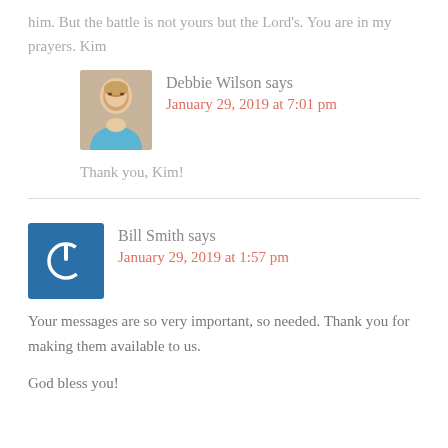him. But the battle is not yours but the Lord's. You are in my prayers. Kim
Debbie Wilson says
January 29, 2019 at 7:01 pm
Thank you, Kim!
Bill Smith says
January 29, 2019 at 1:57 pm
Your messages are so very important, so needed. Thank you for making them available to us.
God bless you!